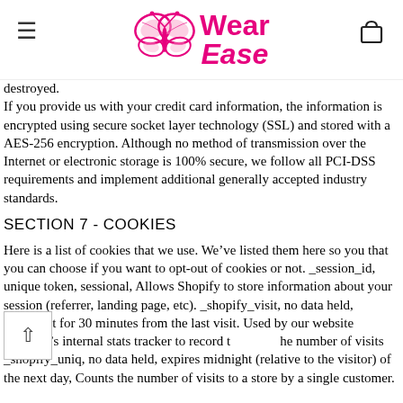WearEase (logo with butterfly)
destroyed.
If you provide us with your credit card information, the information is encrypted using secure socket layer technology (SSL) and stored with a AES-256 encryption. Although no method of transmission over the Internet or electronic storage is 100% secure, we follow all PCI-DSS requirements and implement additional generally accepted industry standards.
SECTION 7 - COOKIES
Here is a list of cookies that we use. We've listed them here so you that you can choose if you want to opt-out of cookies or not. _session_id, unique token, sessional, Allows Shopify to store information about your session (referrer, landing page, etc). _shopify_visit, no data held, Persistent for 30 minutes from the last visit. Used by our website provider's internal stats tracker to record the number of visits _shopify_uniq, no data held, expires midnight (relative to the visitor) of the next day, Counts the number of visits to a store by a single customer.